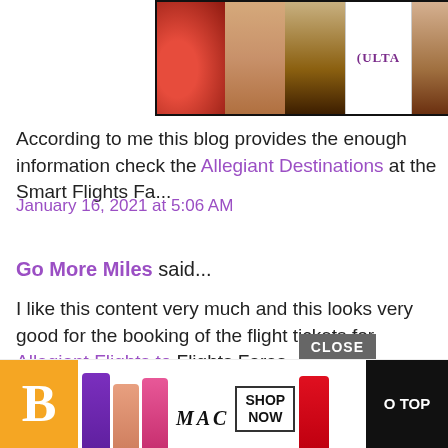[Figure (advertisement): Ulta Beauty makeup ad banner with cosmetic photos and SHOP NOW button]
According to me this blog provides the enough informa... check the Allegiant Destinations at the Smart Flights Fa...
January 16, 2021 at 5:06 AM
Go More Miles said...
I like this content very much and this looks very good fo... the booking of the flight tickets for Allegiant Flights to... Flights Fares.
January 18, 2021 at 4:07 AM
Nick Smith said...
[Figure (advertisement): MAC Cosmetics ad banner with lipsticks and SHOP NOW button, with CLOSE button and GO TO TOP button]